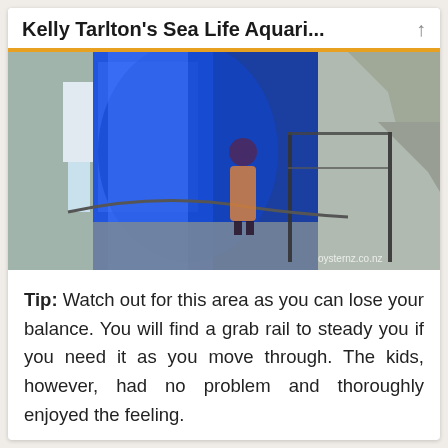Kelly Tarlton's Sea Life Aquari...
[Figure (photo): Interior of Kelly Tarlton's Sea Life Aquarium showing a child standing in a blue-lit tunnel passage with glass panels, metal railings, and rocky white cave-like walls. Watermark reads oysternz.co.nz]
Tip: Watch out for this area as you can lose your balance. You will find a grab rail to steady you if you need it as you move through. The kids, however, had no problem and thoroughly enjoyed the feeling.